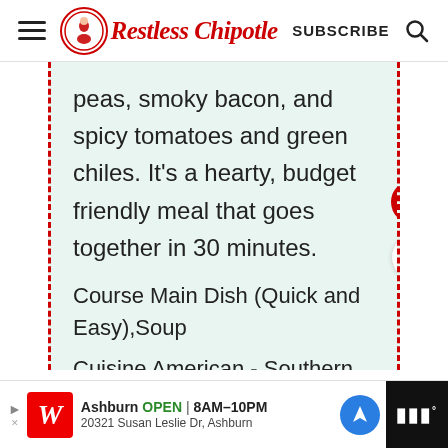[Figure (logo): Restless Chipotle website header with hamburger menu, circular logo with woman illustration, script 'Restless Chipotle' text in red, SUBSCRIBE text, and search icon]
peas, smoky bacon, and spicy tomatoes and green chiles. It's a hearty, budget friendly meal that goes together in 30 minutes.
Course Main Dish (Quick and Easy),Soup
Cuisine American - Southern
[Figure (infographic): What's Next panel with Cowboy Caviar: Blac... thumbnail]
[Figure (infographic): Walgreens advertisement banner: Ashburn OPEN 8AM-10PM, 20321 Susan Leslie Dr, Ashburn]